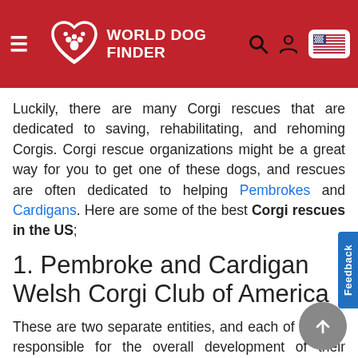World Dog Finder
Luckily, there are many Corgi rescues that are dedicated to saving, rehabilitating, and rehoming Corgis. Corgi rescue organizations might be a great way for you to get one of these dogs, and rescues are often dedicated to helping Pembrokes and Cardigans. Here are some of the best Corgi rescues in the US;
1. Pembroke and Cardigan Welsh Corgi Club of America
These are two separate entities, and each of them is responsible for the overall development of their respective breeds. They have information about all Corgi breeders, and if some of them need to rehome their dogs, they might contact